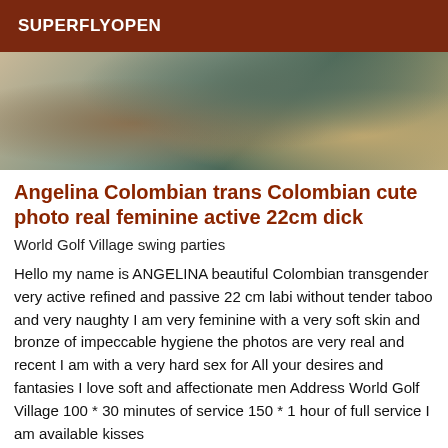SUPERFLYOPEN
[Figure (photo): Partial photograph showing a person with dark hair from above, in a bathroom or tiled room setting with teal/turquoise clothing visible]
Angelina Colombian trans Colombian cute photo real feminine active 22cm dick
World Golf Village swing parties
Hello my name is ANGELINA beautiful Colombian transgender very active refined and passive 22 cm labi without tender taboo and very naughty I am very feminine with a very soft skin and bronze of impeccable hygiene the photos are very real and recent I am with a very hard sex for All your desires and fantasies I love soft and affectionate men Address World Golf Village 100 * 30 minutes of service 150 * 1 hour of full service I am available kisses